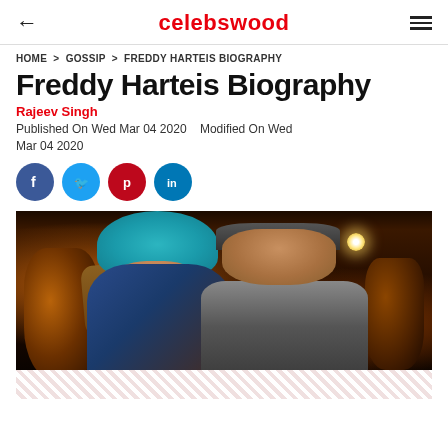celebswood
HOME > GOSSIP > FREDDY HARTEIS BIOGRAPHY
Freddy Harteis Biography
Rajeev Singh
Published On Wed Mar 04 2020   Modified On Wed Mar 04 2020
[Figure (other): Social media sharing icons: Facebook (blue circle), Twitter (light blue circle), Pinterest (red circle), LinkedIn (teal circle)]
[Figure (photo): A woman wearing a teal turban and blue floral dress kissing a man's cheek. The man has short hair and wears a dotted shirt and dark vest. They are seated at a restaurant table with large clay pots in the background and warm ambient lighting.]